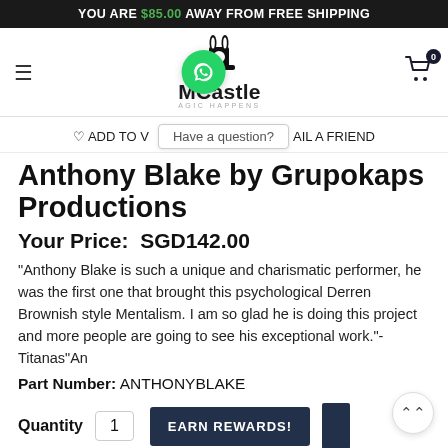YOU ARE $85.00 AWAY FROM FREE SHIPPING
[Figure (screenshot): Navigation bar with hamburger menu, magic castle logo (rabbit in hat), WhatsApp overlay bubble, and cart icon with 0 badge]
ADD TO V  Have a question?  AIL A FRIEND
Anthony Blake by Grupokaps Productions
Your Price:  SGD142.00
"Anthony Blake is such a unique and charismatic performer, he was the first one that brought this psychological Derren Brownish style Mentalism. I am so glad he is doing this project and more people are going to see his exceptional work."- Titanas"An
Part Number: ANTHONYBLAKE
Quantity  1
[Figure (screenshot): EARN REWARDS! dark navy button]